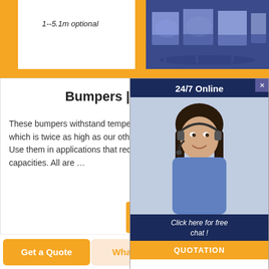[Figure (screenshot): Top portion showing orange background with white box containing italic text '1--5.1m optional' and a photo panel with billboard/display screens at night]
1--5.1m optional
Bumpers | McMasterC
These bumpers withstand temperatures u which is twice as high as our other load ra Use them in applications that require spec capacities. All are …
[Figure (screenshot): Ad popup overlay showing '24/7 Online' header, woman with headset photo, 'Click here for free chat!' text and orange QUOTATION button]
Get Price
Get a Quote
WhatsApp
Chat Now